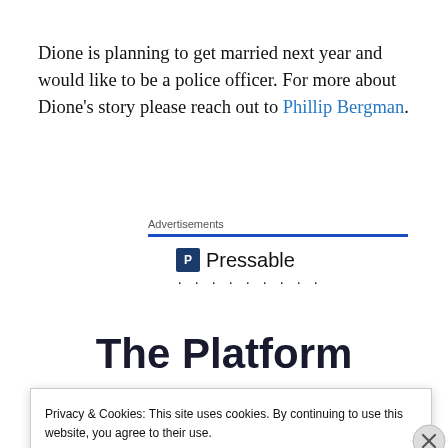Dione is planning to get married next year and would like to be a police officer. For more about Dione's story please reach out to Phillip Bergman.
Advertisements
[Figure (logo): Pressable logo with blue icon and text, followed by a row of dots]
The Platform
Privacy & Cookies: This site uses cookies. By continuing to use this website, you agree to their use.
To find out more, including how to control cookies, see here: Cookie Policy
Close and accept